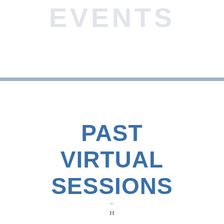EVENTS
PAST VIRTUAL SESSIONS
–